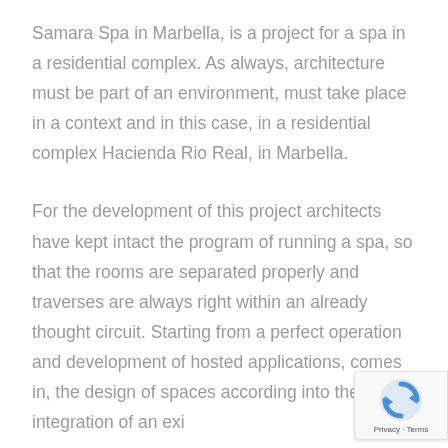Samara Spa in Marbella, is a project for a spa in a residential complex. As always, architecture must be part of an environment, must take place in a context and in this case, in a residential complex Hacienda Rio Real, in Marbella.
For the development of this project architects have kept intact the program of running a spa, so that the rooms are separated properly and traverses are always right within an already thought circuit. Starting from a perfect operation and development of hosted applications, comes in, the design of spaces according into the integration of an exi... This and the desc for the card that on...